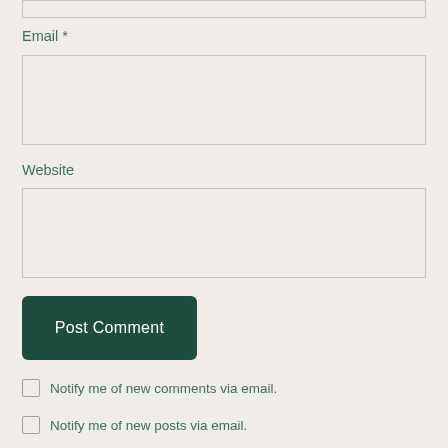Email *
Website
Post Comment
Notify me of new comments via email.
Notify me of new posts via email.